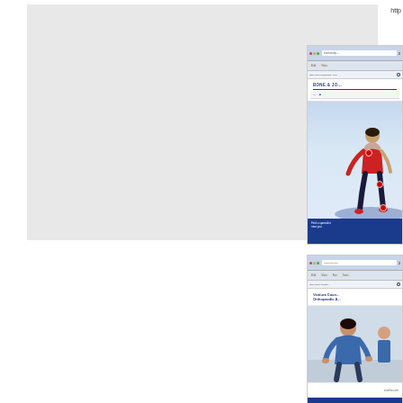http
[Figure (screenshot): Screenshot of Bone & Joint medical website with a woman in red athletic wear and red dot annotations on body parts, blue navigation bar at bottom]
[Figure (screenshot): Screenshot of Ventura County Orthopaedic Associates website with a nurse/medical professional in blue scrubs seated]